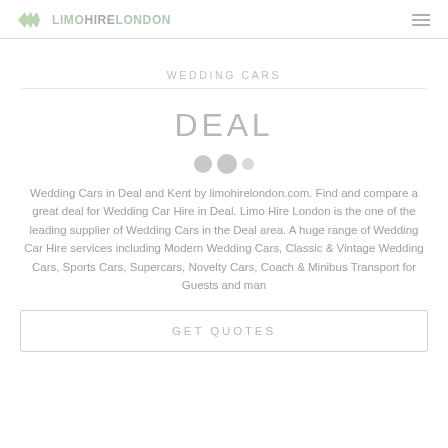LIMOHIRELONDON
WEDDING CARS
DEAL
Wedding Cars in Deal and Kent by limohirelondon.com. Find and compare a great deal for Wedding Car Hire in Deal. Limo Hire London is the one of the leading supplier of Wedding Cars in the Deal area. A huge range of Wedding Car Hire services including Modern Wedding Cars, Classic & Vintage Wedding Cars, Sports Cars, Supercars, Novelty Cars, Coach & Minibus Transport for Guests and man
GET QUOTES